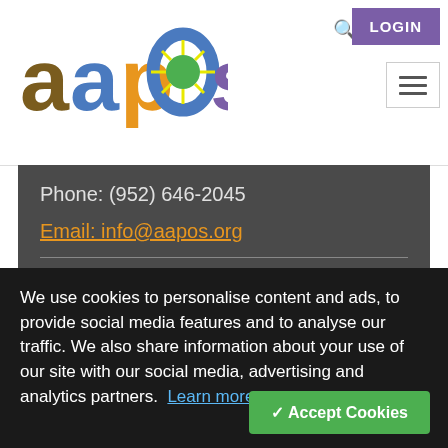[Figure (logo): AAPOS colorful logo with letters a, a, p, o, s in brown, blue, green, orange/yellow, and purple]
LOGIN
Phone: (952) 646-2045
Email: info@aapos.org
Find it Fast
Become a Member
We use cookies to personalise content and ads, to provide social media features and to analyse our traffic. We also share information about your use of our site with our social media, advertising and analytics partners.  Learn more
✓ Accept Cookies